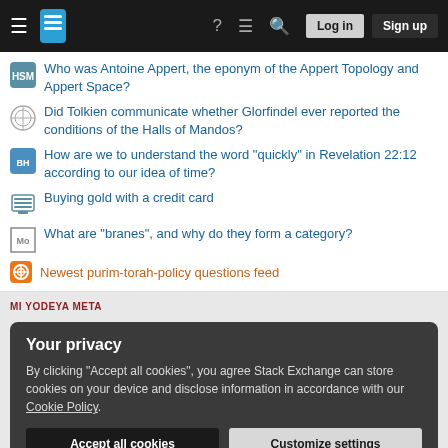Stack Exchange navigation bar with hamburger, logo, help, comments, search, Log in, Sign up buttons
Who was Antoine Appert, the eponym of the Appert Topology and Appert Space?
Did Tolkien communicate whether Glorfindel ever reported the conditions of the Halls of Mandos?
How are we to understand the word "quickly" in Revelation 22:12 according to our idea of time?
Buying gold with a credit card
What are "branes", and why do they form a category?
Newest purim-torah-policy questions feed
MI YODEYA META
Your privacy
By clicking "Accept all cookies", you agree Stack Exchange can store cookies on your device and disclose information in accordance with our Cookie Policy.
Accept all cookies  Customize settings
STACK EXCHANGE NETWORK